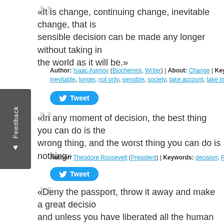«It is change, continuing change, inevitable change, that is the dominant factor in society today. No sensible decision can be made any longer without taking into account not only the world as it is, but the world as it will be.»
Author: Isaac Asimov (Biochemist, Writer) | About: Change | Keywords: account, any longer, inevitable, longer, not only, sensible, society, take account, take into account, taking
«In any moment of decision, the best thing you can do is the right thing, the next best thing is the wrong thing, and the worst thing you can do is nothing»
Author: Theodore Roosevelt (President) | Keywords: decision, Right Thing, The Next Best
«Deny the passport, throw it away and make a great decision to stay in the world and unless you have liberated all the human beings.»
Author: Buddha | Keywords: beings, decision, deny, human beings, liberated, passport, pa...